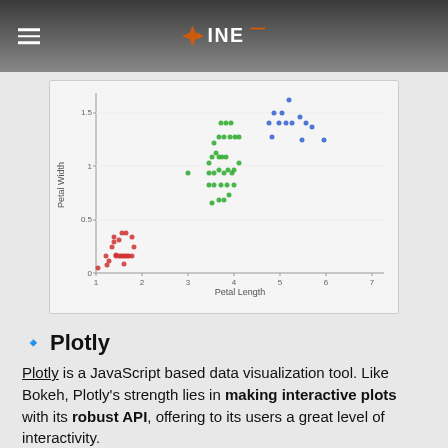INE
[Figure (continuous-plot): Scatter plot of iris dataset showing Petal Length (x-axis, 1-7) vs Petal Width (y-axis, 0-1.5+). Red dots cluster at low petal length (1-2) and low petal width (0-0.5). Green dots spread from petal length 3-5 and petal width 1-1.75. Blue dots appear at petal length 4.5-6 and petal width 1.4-1.8.]
🔹 Plotly
Plotly is a JavaScript based data visualization tool. Like Bokeh, Plotly's strength lies in making interactive plots with its robust API, offering to its users a great level of interactivity.